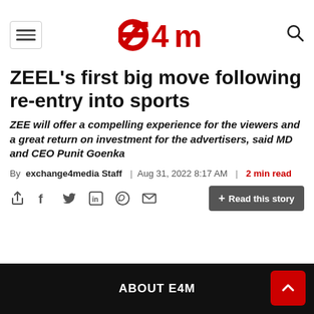e4m
ZEEL's first big move following re-entry into sports
ZEE will offer a compelling experience for the viewers and a great return on investment for the advertisers, said MD and CEO Punit Goenka
By exchange4media Staff | Aug 31, 2022 8:17 AM | 2 min read
ABOUT E4M